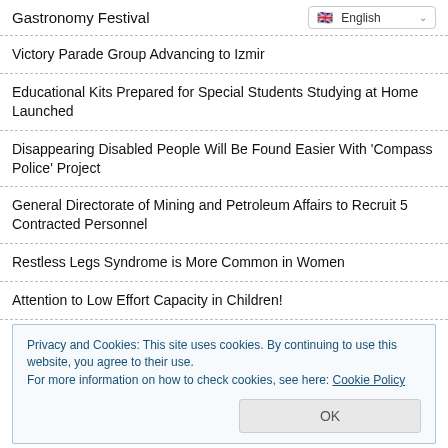Gastronomy Festival
Victory Parade Group Advancing to Izmir
Educational Kits Prepared for Special Students Studying at Home Launched
Disappearing Disabled People Will Be Found Easier With 'Compass Police' Project
General Directorate of Mining and Petroleum Affairs to Recruit 5 Contracted Personnel
Restless Legs Syndrome is More Common in Women
Attention to Low Effort Capacity in Children!
Privacy and Cookies: This site uses cookies. By continuing to use this website, you agree to their use.
For more information on how to check cookies, see here: Cookie Policy
The Amount of Loading and Unloading at Chinese Ports